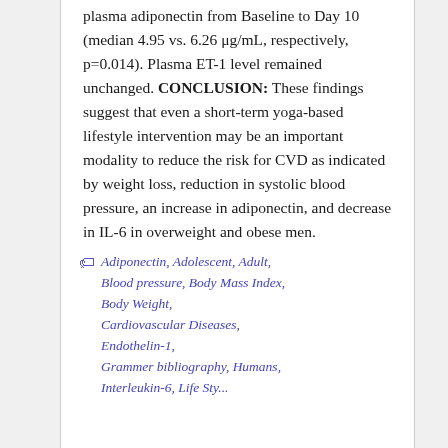plasma adiponectin from Baseline to Day 10 (median 4.95 vs. 6.26 μg/mL, respectively, p=0.014). Plasma ET-1 level remained unchanged. CONCLUSION: These findings suggest that even a short-term yoga-based lifestyle intervention may be an important modality to reduce the risk for CVD as indicated by weight loss, reduction in systolic blood pressure, an increase in adiponectin, and decrease in IL-6 in overweight and obese men.
Adiponectin, Adolescent, Adult, Blood pressure, Body Mass Index, Body Weight, Cardiovascular Diseases, Endothelin-1, Grammer bibliography, Humans, Interleukin-6, Life Style, ...